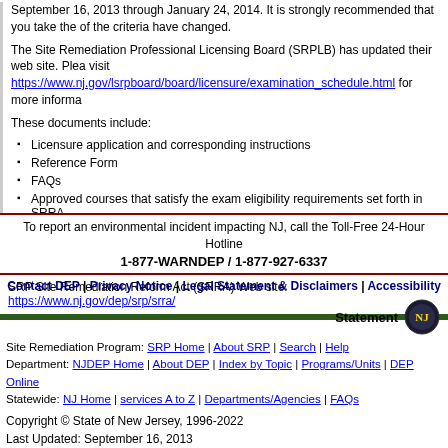September 16, 2013 through January 24, 2014. It is strongly recommended that you take the exam if any of the criteria have changed.
The Site Remediation Professional Licensing Board (SRPLB) has updated their web site. Please visit https://www.nj.gov/lsrpboard/board/licensure/examination_schedule.html for more information.
These documents include:
Licensure application and corresponding instructions
Reference Form
FAQs
Approved courses that satisfy the exam eligibility requirements set forth in SRRA
The Board will provide future notification once the location and time of the examination has be
SRP Site Remediation Reform Act (SRRA) Web site: https://www.nj.gov/dep/srp/srra/
To report an environmental incident impacting NJ, call the Toll-Free 24-Hour Hotline
1-877-WARNDEP / 1-877-927-6337
Contact DEP | Privacy Notice | Legal Statement & Disclaimers | Accessibility
Statement
Site Remediation Program: SRP Home | About SRP | Search | Help
Department: NJDEP Home | About DEP | Index by Topic | Programs/Units | DEP Online
Statewide: NJ Home | services A to Z | Departments/Agencies | FAQs
Copyright © State of New Jersey, 1996-2022
Last Updated: September 16, 2013